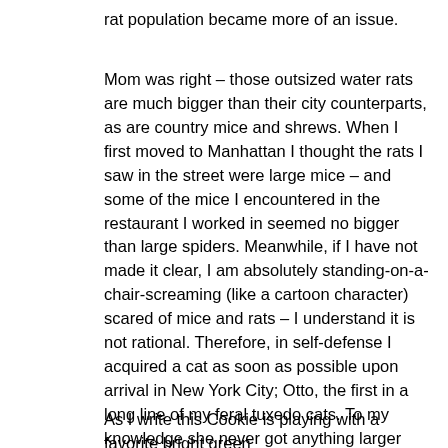rat population became more of an issue.
Mom was right – those outsized water rats are much bigger than their city counterparts, as are country mice and shrews. When I first moved to Manhattan I thought the rats I saw in the street were large mice – and some of the mice I encountered in the restaurant I worked in seemed no bigger than large spiders. Meanwhile, if I have not made it clear, I am absolutely standing-on-a-chair-screaming (like a cartoon character) scared of mice and rats – I understand it is not rational. Therefore, in self-defense I acquired a cat as soon as possible upon arrival in New York City; Otto, the first in a long line of my feral tuxedo cats. To my knowledge she never got anything larger than a water bug and most of my NY mousie (and ratty) encounters took place either outside (think subway tracks, restaurant kitchens) or at the Met – yep, suffice it to say it is a very old building in the midst of Central Park. I have long believed that, like the Hermitage, they should house cats to patrol their basement.
As I write this Cookie is playing with a favorite bright green